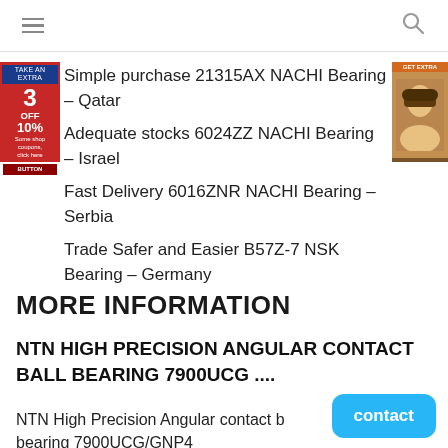[Navigation bar with hamburger menu and search icon]
[Figure (other): Left red advertisement banner with '3 OFF 10%' text]
[Figure (other): Right brown advertisement banner with woman's face]
Simple purchase 21315AX NACHI Bearing – Qatar
Adequate stocks 6024ZZ NACHI Bearing – Israel
Fast Delivery 6016ZNR NACHI Bearing – Serbia
Trade Safer and Easier B57Z-7 NSK Bearing – Germany
MORE INFORMATION
NTN HIGH PRECISION ANGULAR CONTACT BALL BEARING 7900UCG ....
NTN High Precision Angular contact bearing 7900UCG/GNP4
contact